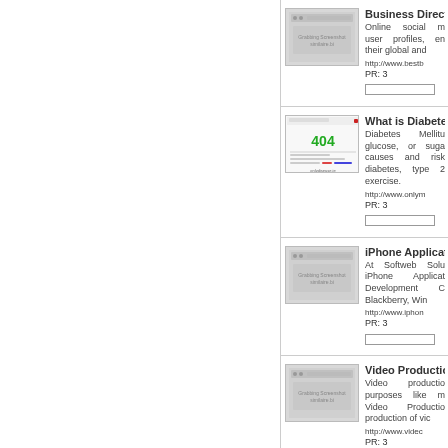[Figure (screenshot): Thumbnail of Business Directory website - placeholder gray screenshot]
Business Directo...
Online social m user profiles, en their global and http://www.bestb
PR: 3
[Figure (screenshot): Thumbnail of What is Diabetes website - 404 page with green 404 text]
What is Diabete...
Diabetes Mellitu glucose, or suga causes and risk diabetes, type 2 exercise. http://www.onlym
PR: 3
[Figure (screenshot): Thumbnail of iPhone Application website - placeholder gray screenshot]
iPhone Applicati...
At Softweb Solu iPhone Applicat Development C Blackberry, Win http://www.iphon
PR: 3
[Figure (screenshot): Thumbnail of Video Production website - placeholder gray screenshot]
Video Productio...
Video productio purposes like m Video Productio production of vic http://www.videc
PR: 3
Travel Blog